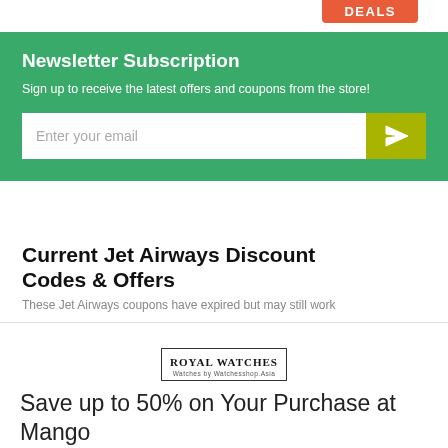DEALS
Newsletter Subscription
Sign up to receive the latest offers and coupons from the store!
Enter your email
Current Jet Airways Discount Codes & Offers
These Jet Airways coupons have expired but may still work
[Figure (logo): Royal Watches brand logo in a bordered box]
Save up to 50% on Your Purchase at Mango
Expires: 15% OFF, Deal, Sale